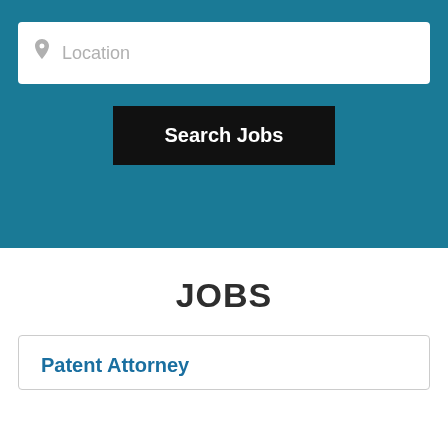[Figure (screenshot): Location search input field with a map pin icon and placeholder text 'Location' on a teal background]
Search Jobs
JOBS
Patent Attorney